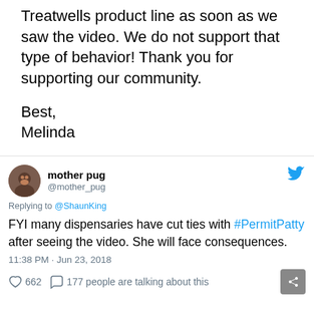Treatwells product line as soon as we saw the video. We do not support that type of behavior! Thank you for supporting our community.
Best,
Melinda
[Figure (screenshot): Twitter/social media post by user 'mother pug' (@mother_pug), replying to @ShaunKing. Tweet text: 'FYI many dispensaries have cut ties with #PermitPatty after seeing the video. She will face consequences.' Timestamp: 11:38 PM - Jun 23, 2018. 662 likes, 177 people are talking about this.]